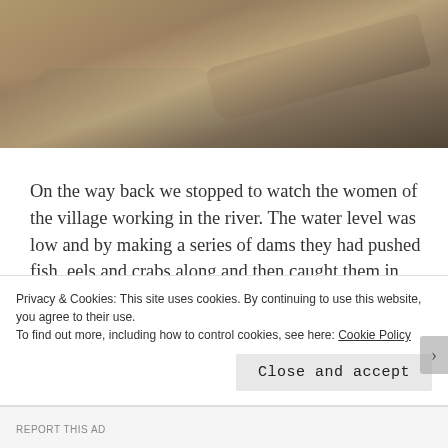[Figure (photo): Outdoor scene showing muddy water, sandy ground, and a large fallen log or tree trunk. People's feet visible at top of scene near water.]
On the way back we stopped to watch the women of the village working in the river. The water level was low and by making a series of dams they had pushed fish, eels and crabs along and then caught them in big nets. The boys were fascinated and we spent a long time there whilst they helped sort the catch into different buckets. Which were then shared amongst the women. George was given a fish and
Privacy & Cookies: This site uses cookies. By continuing to use this website, you agree to their use.
To find out more, including how to control cookies, see here: Cookie Policy
Close and accept